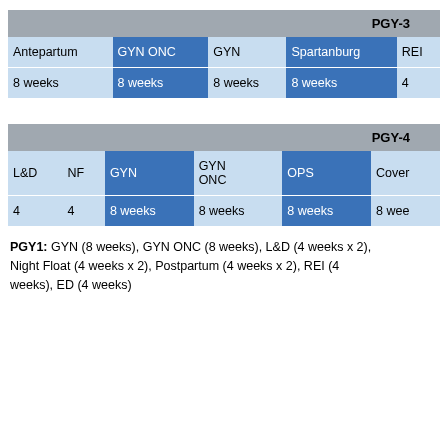| PGY-3 |  |  |  |  |
| --- | --- | --- | --- | --- |
| Antepartum | GYN ONC | GYN | Spartanburg | REI |
| 8 weeks | 8 weeks | 8 weeks | 8 weeks | 4 |
| PGY-4 |  |  |  |  |
| --- | --- | --- | --- | --- |
| L&D | NF | GYN | GYN ONC | OPS | Cover |
| 4 | 4 | 8 weeks | 8 weeks | 8 weeks | 8 wee |
PGY1: GYN (8 weeks), GYN ONC (8 weeks), L&D (4 weeks x 2), Night Float (4 weeks x 2), Postpartum (4 weeks x 2), REI (4 weeks), ED (4 weeks)